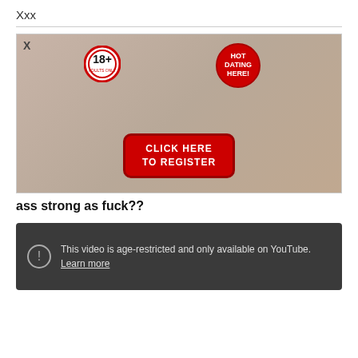Xxx
[Figure (photo): Adult dating advertisement banner showing three women in revealing clothing, an 18+ badge, a HOT DATING HERE! badge, and a red CLICK HERE TO REGISTER button]
ass strong as fuck??
[Figure (screenshot): YouTube age-restricted video overlay with dark background, a circle-i warning icon, and text: This video is age-restricted and only available on YouTube. Learn more]